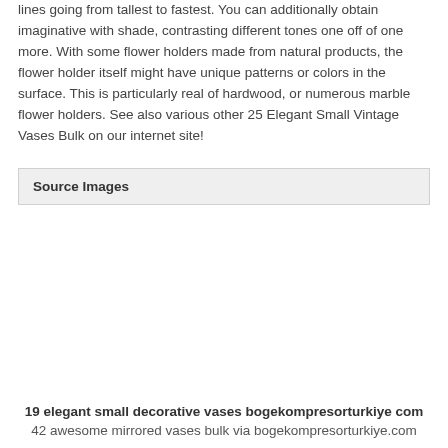lines going from tallest to fastest. You can additionally obtain imaginative with shade, contrasting different tones one off of one more. With some flower holders made from natural products, the flower holder itself might have unique patterns or colors in the surface. This is particularly real of hardwood, or numerous marble flower holders. See also various other 25 Elegant Small Vintage Vases Bulk on our internet site!
Source Images
[Figure (photo): Empty image area below Source Images header]
19 elegant small decorative vases bogekompresorturkiye com
42 awesome mirrored vases bulk via bogekompresorturkiye.com